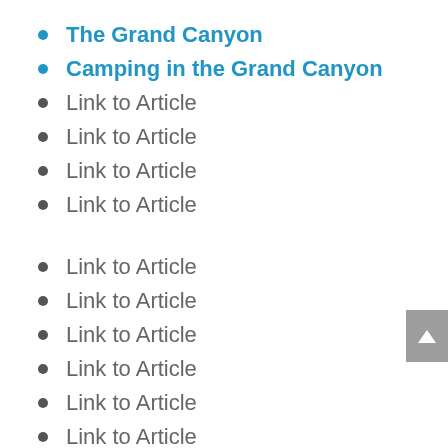The Grand Canyon
Camping in the Grand Canyon
Link to Article
Link to Article
Link to Article
Link to Article
Link to Article
Link to Article
Link to Article
Link to Article
Link to Article
Link to Article
Link to Article